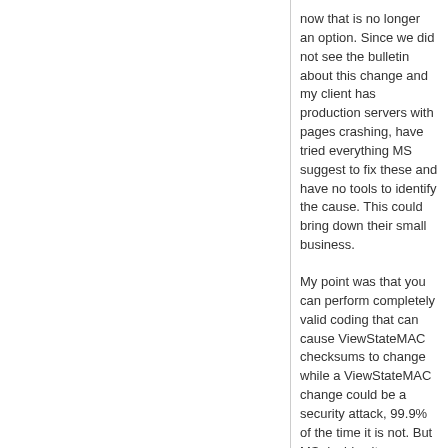now that is no longer an option. Since we did not see the bulletin about this change and my client has production servers with pages crashing, have tried everything MS suggest to fix these and have no tools to identify the cause. This could bring down their small business.
My point was that you can perform completely valid coding that can cause ViewStateMAC checksums to change while a ViewStateMAC change could be a security attack, 99.9% of the time it is not. But MS decides it so dangerous that it must match every time. Of all the problems, ASP.NET security, MS had to choose this one to shove down our throats?